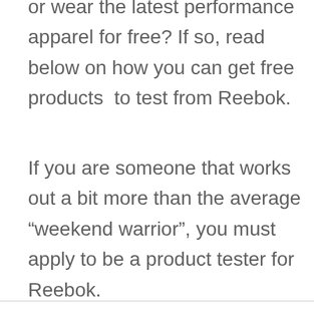or wear the latest performance apparel for free? If so, read below on how you can get free products  to test from Reebok.
If you are someone that works out a bit more than the average “weekend warrior”, you must apply to be a product tester for Reebok.